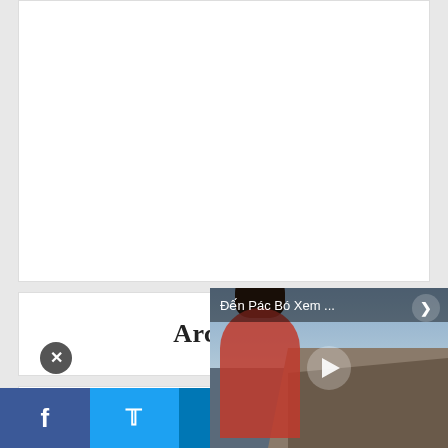[Figure (screenshot): White card area at top of page (empty content area)]
Archives
[Figure (screenshot): Select Month dropdown widget]
[Figure (photo): Video overlay showing title 'Đến Pác Bó Xem ...' with a play button, showing a figure in red against a temple rooftop and sky background. Close button visible in top corner.]
[Figure (infographic): Social sharing bar at bottom with Facebook (blue), Twitter (light blue), LinkedIn (dark blue), Google+ (red), and WhatsApp/other (orange) buttons]